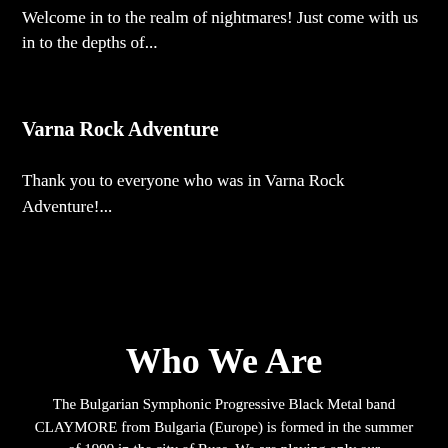Welcome in to the realm of nightmares! Just come with us in to the depths of...
Varna Rock Adventure
Thank you to everyone who was in Varna Rock Adventure!...
Who We Are
The Bulgarian Symphonic Progressive Black Metal band CLAYMORE from Bulgaria (Europe) is formed in the summer of 1999 in the city of Ruse. We are playing only our